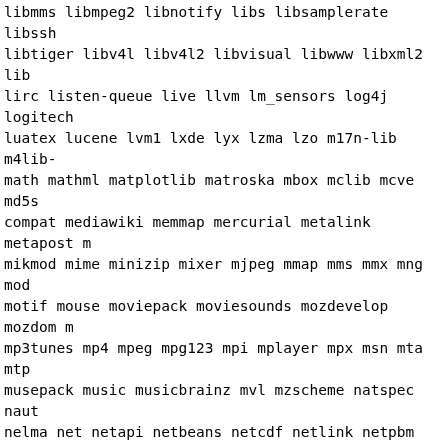libmms libmpeg2 libnotify libs libsamplerate libssh2 libtiger libv4l libv4l2 libvisual libwww libxml2 lib lirc listen-queue live llvm lm_sensors log4j logitech luatex lucene lvm1 lxde lyx lzma lzo m17n-lib m4lib- math mathml matplotlib matroska mbox mclib mcve md5s compat mediawiki memmap mercurial metalink metapost mikmod mime minizip mixer mjpeg mmap mms mmx mng mod motif mouse moviepack moviesounds mozdevelop mozdom mp3tunes mp4 mpeg mpg123 mpi mplayer mpx msn mta mtp musepack music musicbrainz mvl mzscheme natspec naut nelma net netapi netbeans netcdf netlink netpbm nett new-login nextaw nfsdcld nfsidmap nfsv3 nfsv4 nfsv41 no-old-linux nodrm nogyroscopic nokia nominatim norm nptl nsplugin nss ntfs ntfsprogs ntlm ntlm_unsupport nvidia nvtt nyx objc objc++ objc-gc ocaml ocamlopt o offscreen ofx ogdi ogg ogg123 ogm ois okteta okular opencore-amr openexr opengl openldap openmedia openm orc oscar osdmenu osgapps osmesa oss otp otr ots ove parport password pasteafter pbs pcap pci pcntl pcre pdfannotextractor pdo perl perl-geoipupdate pg-intda physfs pipe pixmaps pkinit places plasma player play plugin-checksum plugin-doat plugin-fishlim plugin-sy pnm policykit poppler-data portaudio posix postgres powerkadu ppds ppp presto preview-latex prison priva projectm ps pstricks pth publishers pvr pyglet pytho qimageblitz qos qpak qrupdate qscintilla qt-bundled qt3support qt4 qthelp quicktime quotes qwt radio rap recursion-limit redeyes redland reflection regex rem rle romio rpm rrdtool rss rtc rtf rtmp rtsp ruby rup scale0tilt scanner schroedinger science screen scrip